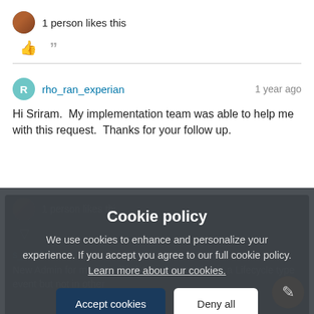1 person likes this
[thumbs up icon] [quote icon]
rho_ran_experian  1 year ago
Hi Sriram.  My implementation team was able to help me with this request.  Thanks for your follow up.
1 person likes thi...
mark76...
New Admin for my gre... ike I can set recurring in a Lifecycle type event but not in other
Cookie policy
We use cookies to enhance and personalize your experience. If you accept you agree to our full cookie policy. Learn more about our cookies.
Accept cookies
Deny all
Cookie settings